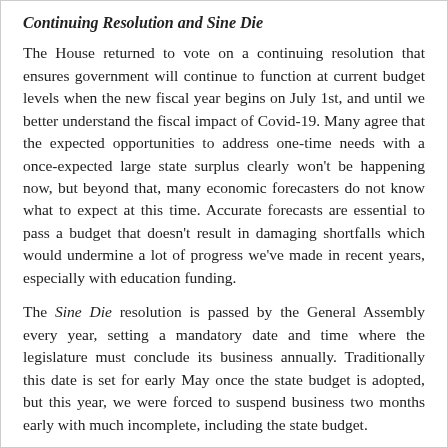Continuing Resolution and Sine Die
The House returned to vote on a continuing resolution that ensures government will continue to function at current budget levels when the new fiscal year begins on July 1st, and until we better understand the fiscal impact of Covid-19. Many agree that the expected opportunities to address one-time needs with a once-expected large state surplus clearly won't be happening now, but beyond that, many economic forecasters do not know what to expect at this time. Accurate forecasts are essential to pass a budget that doesn't result in damaging shortfalls which would undermine a lot of progress we've made in recent years, especially with education funding.
The Sine Die resolution is passed by the General Assembly every year, setting a mandatory date and time where the legislature must conclude its business annually. Traditionally this date is set for early May once the state budget is adopted, but this year, we were forced to suspend business two months early with much incomplete, including the state budget.
In extending Sine Die , the House and Senate agreed to